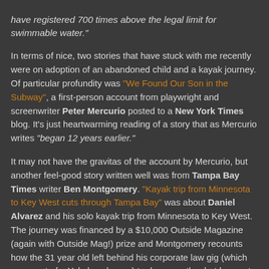have registered 700 times above the legal limit for swimmable water."
In terms of nice, two stories that have stuck with me recently were on adoption of an abandoned child and a kayak journey. Of particular profundity was "We Found Our Son in the Subway", a first-person account from playwright and screenwriter Peter Mercurio posted to a New York Times blog. It's just heartwarming reading of a story that as Mercurio writes "began 12 years earlier."
It may not have the gravitas of the account by Mercurio, but another feel-good story written well was from Tampa Bay Times writer Ben Montgomery. "Kayak trip from Minnesota to Key West cuts through Tampa Bay" was about Daniel Alvarez and his solo kayak trip from Minnesota to Key West. The journey was financed by a $10,000 Outside Magazine (again with Outside Mag!) prize and Montgomery recounts how the 31 year old left behind his corporate law gig (which came out of a Yale law degree) to do... exactly what he wants to be doing.